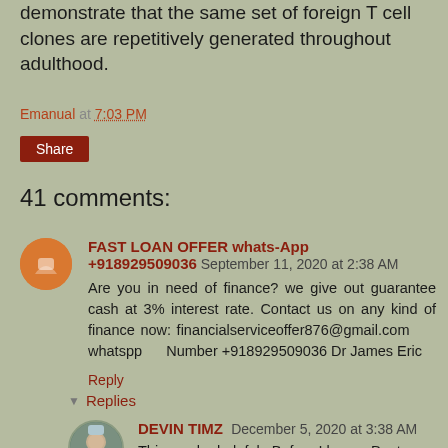demonstrate that the same set of foreign T cell clones are repetitively generated throughout adulthood.
Emanual at 7:03 PM
Share
41 comments:
FAST LOAN OFFER whats-App +918929509036 September 11, 2020 at 2:38 AM
Are you in need of finance? we give out guarantee cash at 3% interest rate. Contact us on any kind of finance now: financialserviceoffer876@gmail.com whatspp Number +918929509036 Dr James Eric
Reply
Replies
DEVIN TIMZ December 5, 2020 at 3:38 AM
This can be helpful...Before I began Doctor Aziba